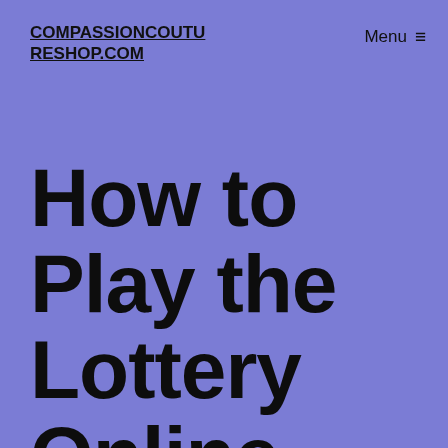COMPASSIONCOUTURESHOP.COM
Menu ≡
How to Play the Lottery Online